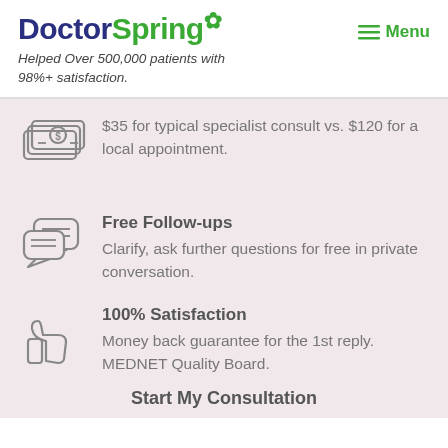DoctorSpring
Helped Over 500,000 patients with 98%+ satisfaction.
≡ Menu
$35 for typical specialist consult vs. $120 for a local appointment.
Free Follow-ups
Clarify, ask further questions for free in private conversation.
100% Satisfaction
Money back guarantee for the 1st reply. MEDNET Quality Board.
Start My Consultation